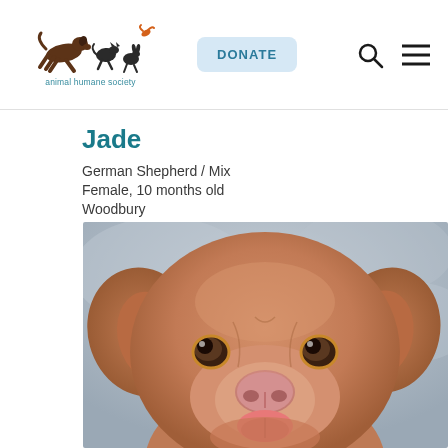[Figure (logo): Animal Humane Society logo with running animal silhouettes and text 'animal humane society']
DONATE
Jade
German Shepherd / Mix
Female, 10 months old
Woodbury
[Figure (photo): Close-up photo of a brown/tan dog (German Shepherd mix named Jade) looking directly at the camera with a gray background]